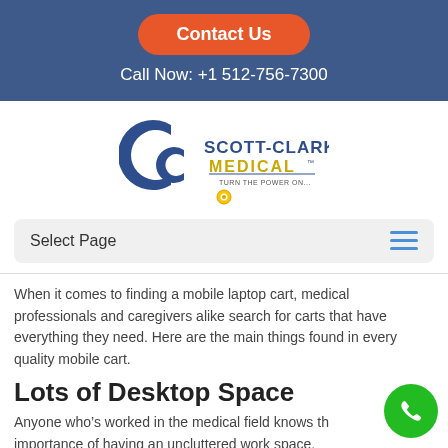Contact Us | Call Now: +1 512-756-7300
[Figure (logo): Scott-Clark Medical logo with two C letters and tagline 'Turn the Power On...']
Select Page
When it comes to finding a mobile laptop cart, medical professionals and caregivers alike search for carts that have everything they need. Here are the main things found in every quality mobile cart.
Lots of Desktop Space
Anyone who’s worked in the medical field knows the importance of having an uncluttered work space.